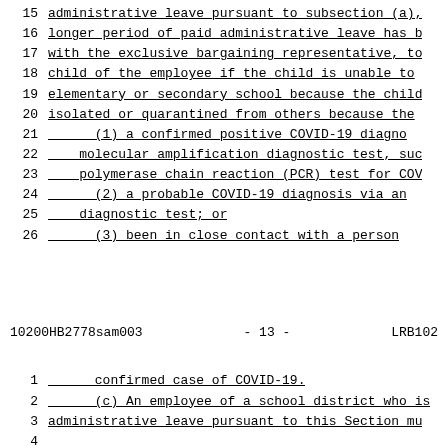15   administrative leave pursuant to subsection (a),
16   longer period of paid administrative leave has b
17   with the exclusive bargaining representative, to
18   child of the employee if the child is unable to
19   elementary or secondary school because the child
20   isolated or quarantined from others because the
21       (1) a confirmed positive COVID-19 diagno
22       molecular amplification diagnostic test, suc
23       polymerase chain reaction (PCR) test for COV
24       (2) a probable COVID-19 diagnosis via an
25       diagnostic test; or
26       (3) been in close contact with a person
10200HB2778sam003          - 13 -          LRB102
1        confirmed case of COVID-19.
2        (c) An employee of a school district who is
3    administrative leave pursuant to this Section mu
4